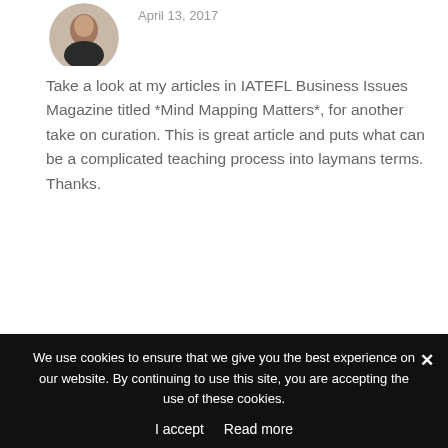[Figure (photo): Circular avatar photo of a person cropped at top]
April 13, 2017
Take a look at my articles in IATEFL Business Issues Magazine titled *Mind Mapping Matters*, for another take on curation. This is great article and puts what can be a complicated teaching process into laymans terms. Thanks.
REPLY
[Figure (illustration): Purple geometric snowflake/star pattern avatar for Glenda Robertson]
Glenda Robertson says:
June 16, 2017
We use cookies to ensure that we give you the best experience on our website. By continuing to use this site, you are accepting the use of these cookies.
I accept   Read more